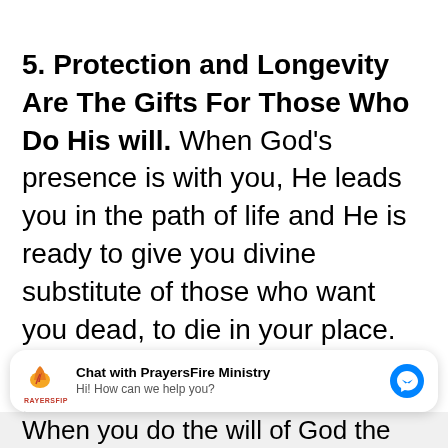5. Protection and Longevity Are The Gifts For Those Who Do His will. When God's presence is with you, He leads you in the path of life and He is ready to give you divine substitute of those who want you dead, to die in your place. You are a treasure to God and He values you greatly.
Chat with PrayersFire Ministry
Hi! How can we help you?
When you do the will of God the